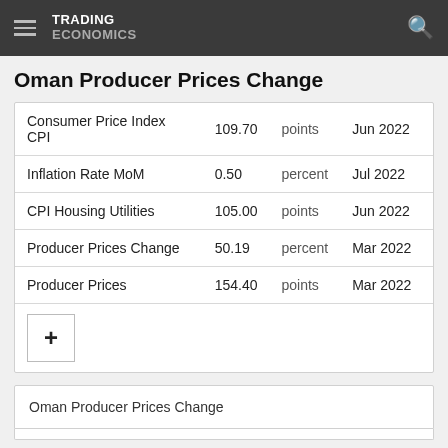TRADING ECONOMICS
Oman Producer Prices Change
|  |  |  |  |
| --- | --- | --- | --- |
| Consumer Price Index CPI | 109.70 | points | Jun 2022 |
| Inflation Rate MoM | 0.50 | percent | Jul 2022 |
| CPI Housing Utilities | 105.00 | points | Jun 2022 |
| Producer Prices Change | 50.19 | percent | Mar 2022 |
| Producer Prices | 154.40 | points | Mar 2022 |
Oman Producer Prices Change